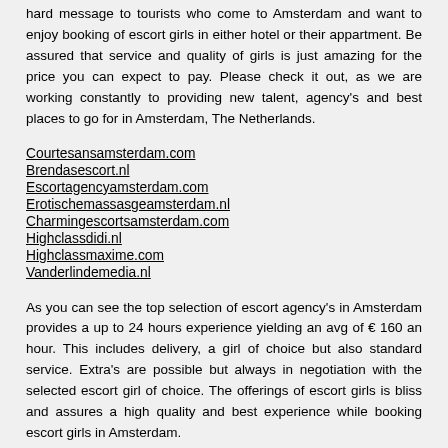hard message to tourists who come to Amsterdam and want to enjoy booking of escort girls in either hotel or their appartment. Be assured that service and quality of girls is just amazing for the price you can expect to pay. Please check it out, as we are working constantly to providing new talent, agency's and best places to go for in Amsterdam, The Netherlands.
Courtesansamsterdam.com
Brendasescort.nl
Escortagencyamsterdam.com
Erotischemassasgeamsterdam.nl
Charmingescortsamsterdam.com
Highclassdidi.nl
Highclassmaxime.com
Vanderlindemedia.nl
As you can see the top selection of escort agency's in Amsterdam provides a up to 24 hours experience yielding an avg of € 160 an hour. This includes delivery, a girl of choice but also standard service. Extra's are possible but always in negotiation with the selected escort girl of choice. The offerings of escort girls is bliss and assures a high quality and best experience while booking escort girls in Amsterdam. Clic...